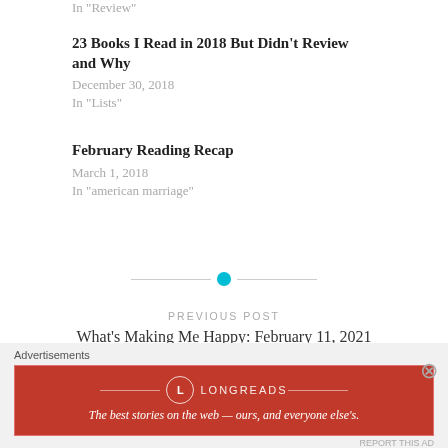In "Review"
23 Books I Read in 2018 But Didn't Review and Why
December 30, 2018
In "Lists"
February Reading Recap
March 1, 2018
In "american marriage"
PREVIOUS POST
What's Making Me Happy: February 11, 2021
Advertisements
LONGREADS
The best stories on the web — ours, and everyone else's.